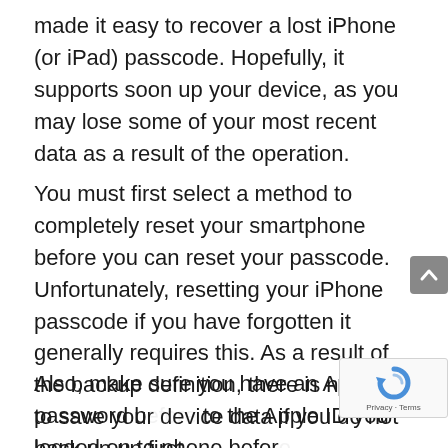made it easy to recover a lost iPhone (or iPad) passcode. Hopefully, it supports soon up your device, as you may lose some of your most recent data as a result of the operation.
You must first select a method to completely reset your smartphone before you can reset your passcode. Unfortunately, resetting your iPhone passcode if you have forgotten it generally requires this. As a result of the backup definition, there is no way to save your device data if you do not back up up first.
Also, make sure you have an Apple password b... to the Apple ID you logged on to phone before... proceeding. His phone will restart from the start